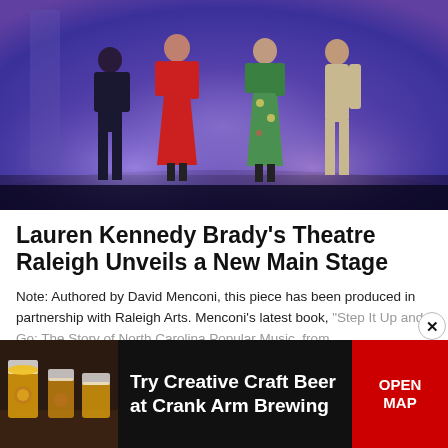[Figure (photo): Stage performance photo showing four actors on a theatre stage with purple/blue lighting. A woman in a red dress and a man in a suit are center stage, with another woman in a floral green dress and a man in a beige suit on the right.]
Lauren Kennedy Brady's Theatre Raleigh Unveils a New Main Stage
Note: Authored by David Menconi, this piece has been produced in partnership with Raleigh Arts. Menconi's latest book, "Step It Up and Go: The Story of North Carolina Popular Music, from...
[Figure (photo): Advertisement banner for Crank Arm Brewing showing craft beer cups on the left, text 'Try Creative Craft Beer at Crank Arm Brewing' in the center, and a red 'OPEN MAP' button on the right.]